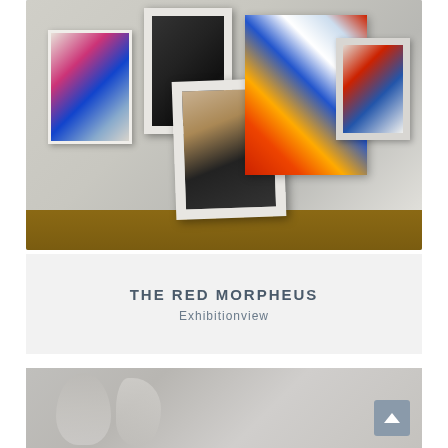[Figure (photo): Gallery room with several abstract paintings hung on white walls. Left wall has a large abstract painting with pink and blue tones. Center shows a dark framed painting and an angled white-framed painting with brown tones. Right wall features a large colorful abstract painting in red, yellow, blue and white, plus a smaller framed painting. Wooden floor visible at bottom.]
THE RED MORPHEUS
Exhibitionview
[Figure (photo): Partial view of white sculptural forms or ceramic pieces on a light background, cropped at the bottom of the page.]